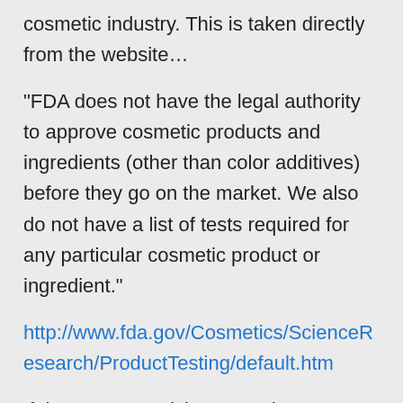cosmetic industry. This is taken directly from the website…
“FDA does not have the legal authority to approve cosmetic products and ingredients (other than color additives) before they go on the market. We also do not have a list of tests required for any particular cosmetic product or ingredient.”
http://www.fda.gov/Cosmetics/ScienceResearch/ProductTesting/default.htm
If that’s not surprising enough…